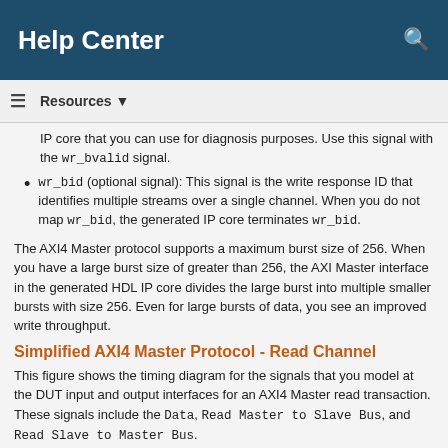Help Center
Resources ▼
IP core that you can use for diagnosis purposes. Use this signal with the wr_bvalid signal.
wr_bid (optional signal): This signal is the write response ID that identifies multiple streams over a single channel. When you do not map wr_bid, the generated IP core terminates wr_bid.
The AXI4 Master protocol supports a maximum burst size of 256. When you have a large burst size of greater than 256, the AXI Master interface in the generated HDL IP core divides the large burst into multiple smaller bursts with size 256. Even for large bursts of data, you see an improved write throughput.
Simplified AXI4 Master Protocol - Read Channel
This figure shows the timing diagram for the signals that you model at the DUT input and output interfaces for an AXI4 Master read transaction. These signals include the Data, Read Master to Slave Bus, and Read Slave to Master Bus.